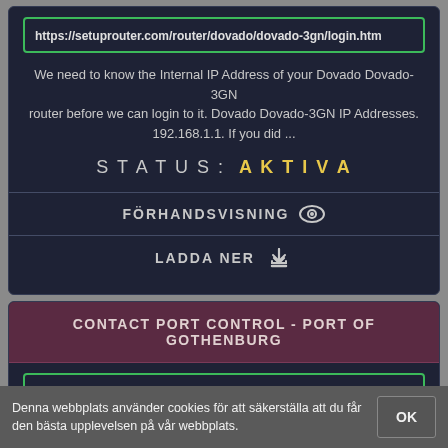https://setuprouter.com/router/dovado/dovado-3gn/login.htm
We need to know the Internal IP Address of your Dovado Dovado-3GN router before we can login to it. Dovado Dovado-3GN IP Addresses. 192.168.1.1. If you did ...
STATUS: AKTIVA
FÖRHANDSVISNING
LADDA NER
CONTACT PORT CONTROL - PORT OF GOTHENBURG
https://www.portofgothenburg.com/maritime/contact-port-control/
GÖTEBORGS HAMN AB - EN DEL AV GÖTEBORGS STAD ... Contact Port Control. Gothenburg Port Authority ... E-mail:
Denna webbplats använder cookies för att säkerställa att du får den bästa upplevelsen på vår webbplats.